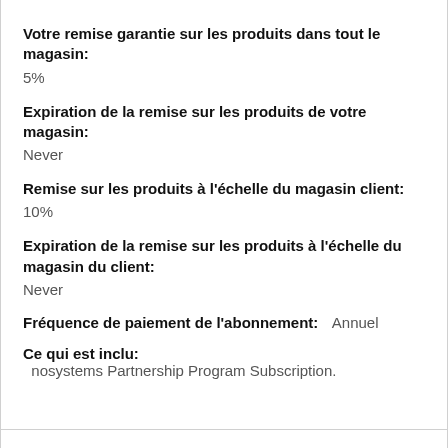Votre remise garantie sur les produits dans tout le magasin:
5%
Expiration de la remise sur les produits de votre magasin:
Never
Remise sur les produits à l'échelle du magasin client:
10%
Expiration de la remise sur les produits à l'échelle du magasin du client:
Never
Fréquence de paiement de l'abonnement:   Annuel
Ce qui est inclu:   nosystems Partnership Program Subscription.
Reviews
Only registered users can write reviews. Please Sign in or Create an account.